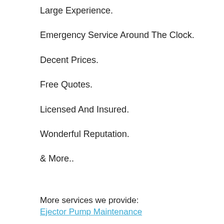Large Experience.
Emergency Service Around The Clock.
Decent Prices.
Free Quotes.
Licensed And Insured.
Wonderful Reputation.
& More..
More services we provide:
Ejector Pump Maintenance